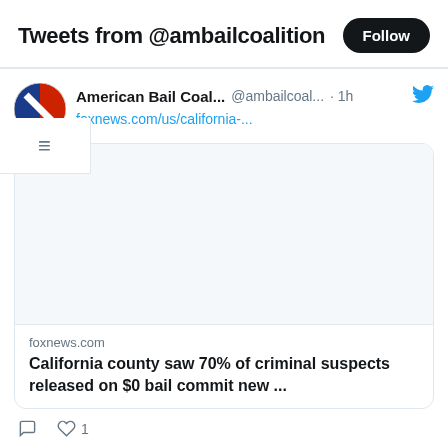Tweets from @ambailcoalition
American Bail Coal... @ambailcoal... · 1h
foxnews.com/us/california-...
[Figure (screenshot): Blank image placeholder inside linked article card]
foxnews.com
California county saw 70% of criminal suspects released on $0 bail commit new ...
1